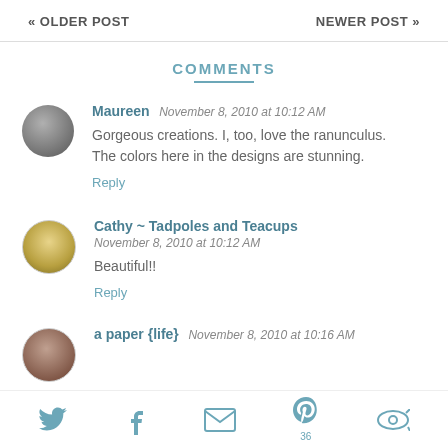« OLDER POST    NEWER POST »
COMMENTS
Maureen   November 8, 2010 at 10:12 AM
Gorgeous creations. I, too, love the ranunculus. The colors here in the designs are stunning.
Reply
Cathy ~ Tadpoles and Teacups   November 8, 2010 at 10:12 AM
Beautiful!!
Reply
a paper {life}   November 8, 2010 at 10:16 AM